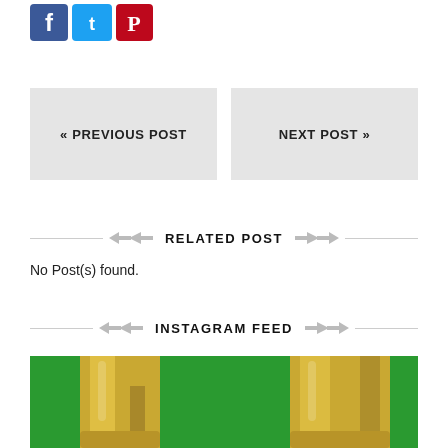[Figure (logo): Social media sharing icons: Facebook (blue), Twitter (blue bird), Pinterest (red)]
« PREVIOUS POST
NEXT POST »
RELATED POST
No Post(s) found.
INSTAGRAM FEED
[Figure (photo): Close-up photo of shiny gold/metallic boots against a green background, showing two legs wearing tall latex or patent leather boots.]